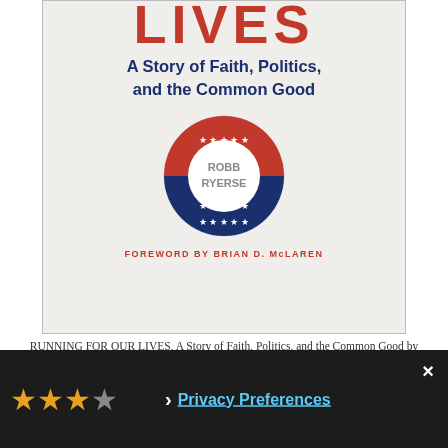[Figure (illustration): Book cover for 'Running for Our Lives: A Story of Faith, Politics, and the Common Good' by Robb Ryerse. Shows partial title text at top cropped, subtitle below in dark blue, a campaign button badge in center with red top half with white stars and blue bottom half with white stars, author name ROBB RYERSE in gray on white center, and foreword credit at bottom in red.]
RUNNING FOR OUR LIVES, A Story of Faith, Politics, and the Common Good by Robb Ryerse
[Figure (screenshot): Dark bottom bar with star rating (approximately 3 out of 5 stars shown in orange/gold), a chevron icon, and Privacy Preferences link in blue, with an X close button in white at top right.]